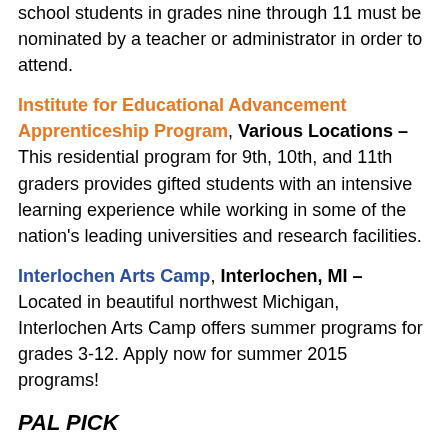school students in grades nine through 11 must be nominated by a teacher or administrator in order to attend.
Institute for Educational Advancement Apprenticeship Program, Various Locations – This residential program for 9th, 10th, and 11th graders provides gifted students with an intensive learning experience while working in some of the nation's leading universities and research facilities.
Interlochen Arts Camp, Interlochen, MI – Located in beautiful northwest Michigan, Interlochen Arts Camp offers summer programs for grades 3-12. Apply now for summer 2015 programs!
PAL PICK
Johns Hopkins Center for Talented Youth Summer